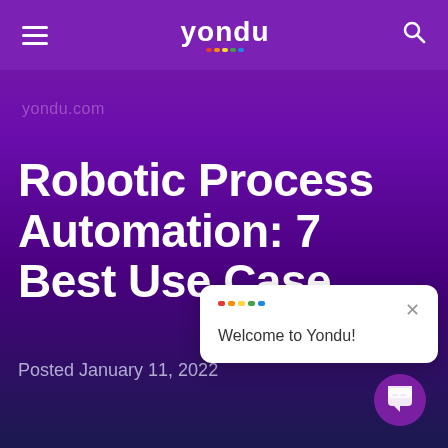yondu
yondu.com
Robotic Process Automation: 7 Best Use Cases
Posted January 11, 2022
[Figure (screenshot): Welcome to Yondu chat popup overlay with close button and colored dots]
[Figure (screenshot): Purple circular chat button with chat icon]